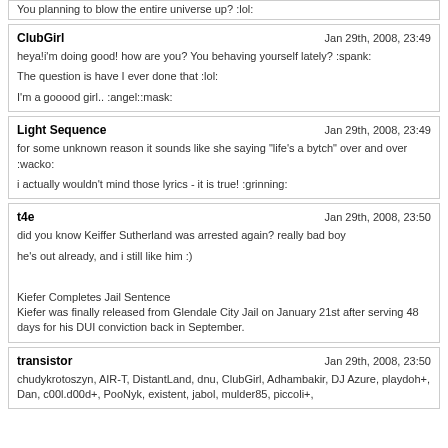You planning to blow the entire universe up? :lol:
ClubGirl — Jan 29th, 2008, 23:49
heya!i'm doing good! how are you? You behaving yourself lately? :spank:
The question is have I ever done that :lol:
I'm a gooood girl.. :angel::mask:
Light Sequence — Jan 29th, 2008, 23:49
for some unknown reason it sounds like she saying "life's a bytch" over and over :wacko:
i actually wouldn't mind those lyrics - it is true! :grinning:
t4e — Jan 29th, 2008, 23:50
did you know Keiffer Sutherland was arrested again? really bad boy
he's out already, and i still like him :)
Kiefer Completes Jail Sentence
Kiefer was finally released from Glendale City Jail on January 21st after serving 48 days for his DUI conviction back in September.
transistor — Jan 29th, 2008, 23:50
chudykrotoszyn, AIR-T, DistantLand, dnu, ClubGirl, Adhambakir, DJ Azure, playdoh+, Dan, c00l.d00d+, PooNyk, existent, jabol, mulder85, piccoli+,